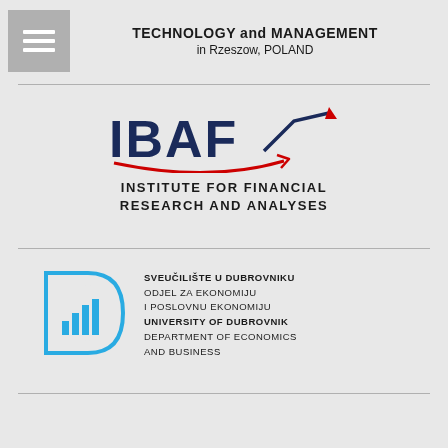TECHNOLOGY and MANAGEMENT in Rzeszow, POLAND
[Figure (logo): IBAF logo with arrow chart icon and text: INSTITUTE FOR FINANCIAL RESEARCH AND ANALYSES]
[Figure (logo): University of Dubrovnik logo with D-shaped bar chart icon and text: SVEUČILIŠTE U DUBROVNIKU, ODJEL ZA EKONOMIJU I POSLOVNU EKONOMIJU, UNIVERSITY OF DUBROVNIK, DEPARTMENT OF ECONOMICS AND BUSINESS]